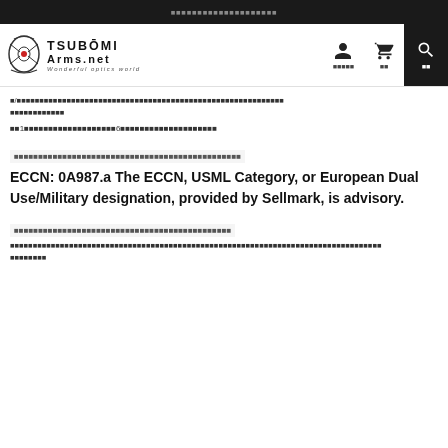TSUBOMI Arms.net - Wonderful optics world
breadcrumb navigation path with Japanese text
Page 1 of results, showing 6 items, Japanese text
Japanese section label for ECCN
ECCN: 0A987.a The ECCN, USML Category, or European Dual Use/Military designation, provided by Sellmark, is advisory.
Japanese section label
Japanese body text